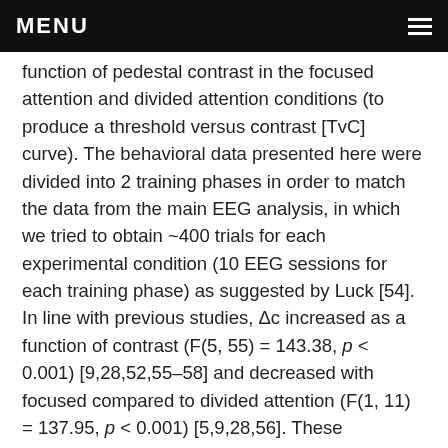MENU
function of pedestal contrast in the focused attention and divided attention conditions (to produce a threshold versus contrast [TvC] curve). The behavioral data presented here were divided into 2 training phases in order to match the data from the main EEG analysis, in which we tried to obtain ~400 trials for each experimental condition (10 EEG sessions for each training phase) as suggested by Luck [54]. In line with previous studies, Δc increased as a function of contrast (F(5, 55) = 143.38, p < 0.001) [9,28,52,55–58] and decreased with focused compared to divided attention (F(1, 11) = 137.95, p < 0.001) [5,9,28,56]. These attentional modulations occurred at all contrast levels (all t(11)'s ≥ 5.03, all p's < 0.001, data collapsed across early and late training phases, false discovery rate [FDR]-corrected, 2-tailed). In addition, there were significant attention effects on Δc in